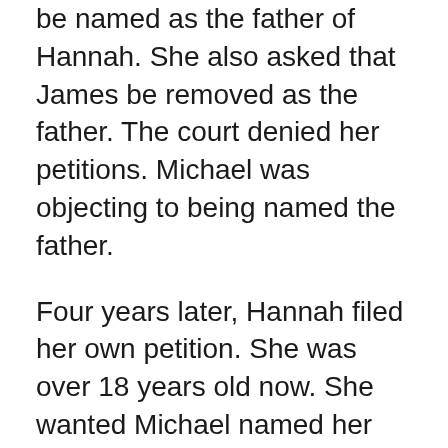be named as the father of Hannah. She also asked that James be removed as the father. The court denied her petitions. Michael was objecting to being named the father.
Four years later, Hannah filed her own petition. She was over 18 years old now. She wanted Michael named her father. She wanted him to pay expenses as the father.
The court dismissed Hannah’s petition. It said that this issue had already been decided years earlier. When her mother, Susan, had filed for the same thing.
Hannah appealed. The Appellate Court said that you can’t redo issues for two situations.